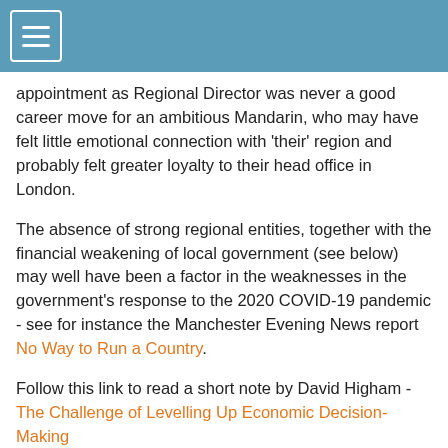[Navigation header with hamburger menu]
appointment as Regional Director was never a good career move for an ambitious Mandarin, who may have felt little emotional connection with 'their' region and probably felt greater loyalty to their head office in London.
The absence of strong regional entities, together with the financial weakening of local government (see below) may well have been a factor in the weaknesses in the government's response to the 2020 COVID-19 pandemic - see for instance the Manchester Evening News report No Way to Run a Country.
Follow this link to read a short note by David Higham - The Challenge of Levelling Up Economic Decision-Making